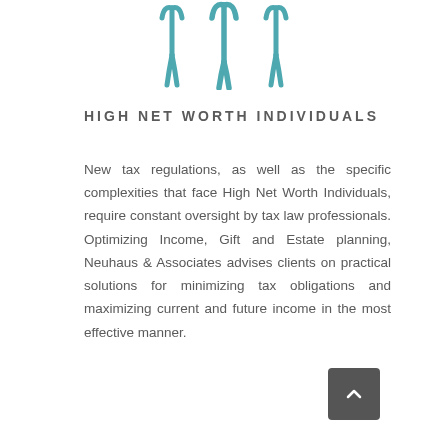[Figure (illustration): Teal/blue icon depicting three stylized human figures (persons) shown from the top, representing individuals or a group]
HIGH NET WORTH INDIVIDUALS
New tax regulations, as well as the specific complexities that face High Net Worth Individuals, require constant oversight by tax law professionals. Optimizing Income, Gift and Estate planning, Neuhaus & Associates advises clients on practical solutions for minimizing tax obligations and maximizing current and future income in the most effective manner.